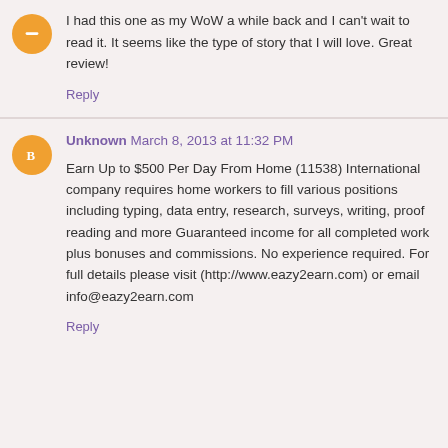I had this one as my WoW a while back and I can't wait to read it. It seems like the type of story that I will love. Great review!
Reply
Unknown March 8, 2013 at 11:32 PM
Earn Up to $500 Per Day From Home (11538) International company requires home workers to fill various positions including typing, data entry, research, surveys, writing, proof reading and more Guaranteed income for all completed work plus bonuses and commissions. No experience required. For full details please visit (http://www.eazy2earn.com) or email info@eazy2earn.com
Reply